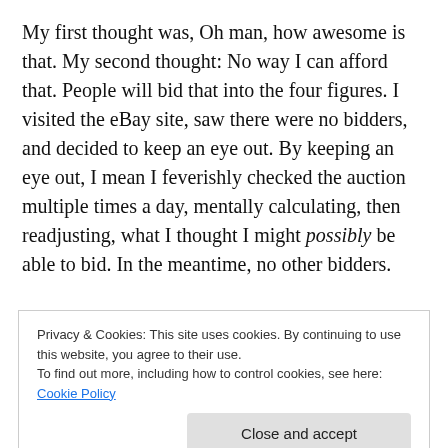My first thought was, Oh man, how awesome is that. My second thought: No way I can afford that. People will bid that into the four figures. I visited the eBay site, saw there were no bidders, and decided to keep an eye out. By keeping an eye out, I mean I feverishly checked the auction multiple times a day, mentally calculating, then readjusting, what I thought I might possibly be able to bid. In the meantime, no other bidders.
Cue Friday, August 9. The auction was set to end at 3:30 my time. I set an alarm clock. Seriously. All morning there
Privacy & Cookies: This site uses cookies. By continuing to use this website, you agree to their use. To find out more, including how to control cookies, see here: Cookie Policy
someone to outbid me by $10. Or $100. At 3:28, I was still